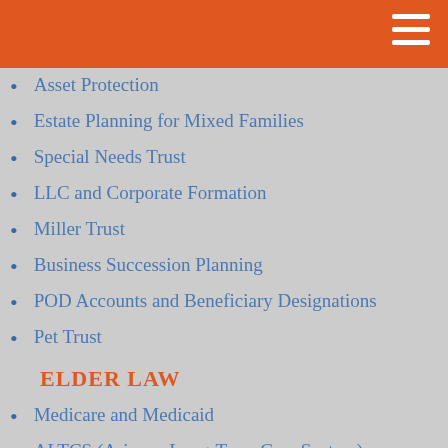Asset Protection
Estate Planning for Mixed Families
Special Needs Trust
LLC and Corporate Formation
Miller Trust
Business Succession Planning
POD Accounts and Beneficiary Designations
Pet Trust
ELDER LAW
Medicare and Medicaid
ALTCS (Arizona Long-Term Care System)
Estate Planning Needs of the Elderly
Social Security
VA Aid and Attendance